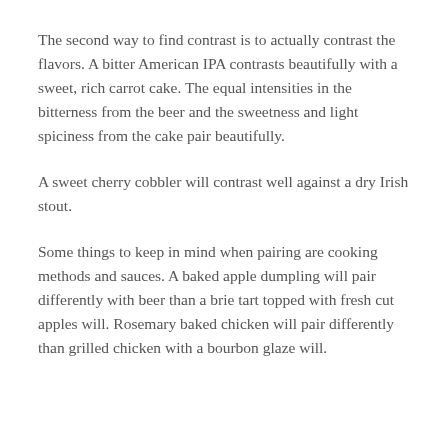The second way to find contrast is to actually contrast the flavors. A bitter American IPA contrasts beautifully with a sweet, rich carrot cake. The equal intensities in the bitterness from the beer and the sweetness and light spiciness from the cake pair beautifully.
A sweet cherry cobbler will contrast well against a dry Irish stout.
Some things to keep in mind when pairing are cooking methods and sauces. A baked apple dumpling will pair differently with beer than a brie tart topped with fresh cut apples will. Rosemary baked chicken will pair differently than grilled chicken with a bourbon glaze will.